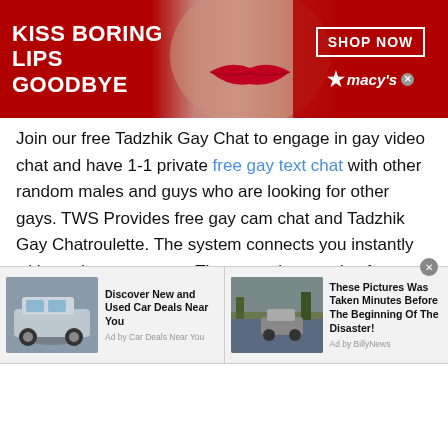[Figure (illustration): Macy's advertisement banner: red background, woman with red lips, text 'KISS BORING LIPS GOODBYE', 'SHOP NOW' button, Macy's star logo]
Join our free Tadzhik Gay Chat to engage in gay video chat and have 1-1 private free gay text chat with other random males and guys who are looking for other gays. TWS Provides free gay cam chat and Tadzhik Gay Chatroulette. The system connects you instantly with random gay cams. There are thousands of guys online waiting to connect with you for fun gay video chat. You can use basic video chat features for free or you can upgrade to get access to all features.
Diverse Community
[Figure (illustration): Bottom advertisement strip: two ads side by side. Left ad: SUV car image, 'Discover New and Used Car Deals Near You', 'Ad by Car Deals Near You'. Right ad: flood/disaster scene with car, 'These Pictures Was Taken Minutes Before The Beginning Of The Disaster!', 'Ad by BillyNews']